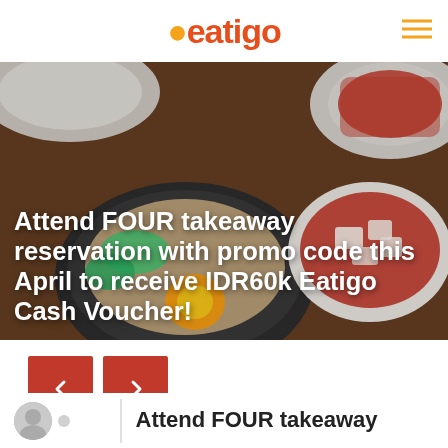eatigo
[Figure (photo): Hero banner image showing Korean food bowls including bibimbap with egg yolk and kimchi stew in stone bowls on a wooden table]
Attend FOUR takeaway reservation with promo code this April to receive IDR60k Eatigo Cash Voucher!
[Figure (other): Navigation arrow buttons: left arrow and right arrow in red square buttons]
Attend FOUR takeaway